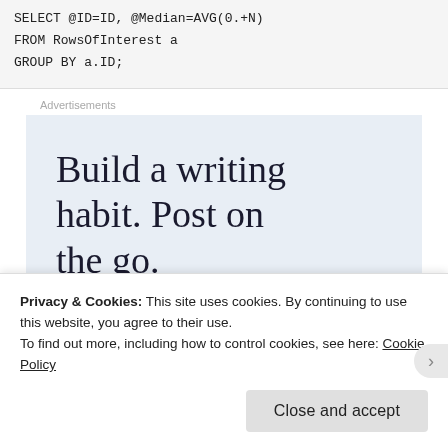SELECT @ID=ID, @Median=AVG(0.+N)
FROM RowsOfInterest a
GROUP BY a.ID;
Advertisements
[Figure (other): Advertisement banner with text: Build a writing habit. Post on the go.]
Privacy & Cookies: This site uses cookies. By continuing to use this website, you agree to their use.
To find out more, including how to control cookies, see here: Cookie Policy